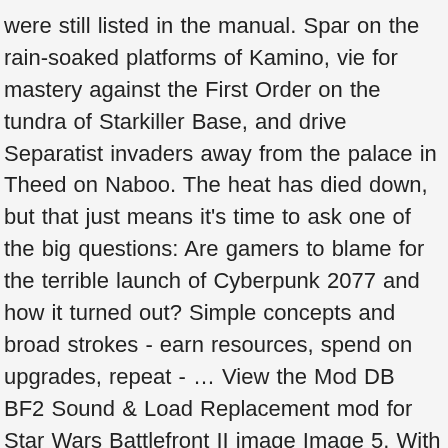were still listed in the manual. Spar on the rain-soaked platforms of Kamino, vie for mastery against the First Order on the tundra of Starkiller Base, and drive Separatist invaders away from the palace in Theed on Naboo. The heat has died down, but that just means it's time to ask one of the big questions: Are gamers to blame for the terrible launch of Cyberpunk 2077 and how it turned out? Simple concepts and broad strokes - earn resources, spend on upgrades, repeat - … View the Mod DB BF2 Sound & Load Replacement mod for Star Wars Battlefront II image Image 5. With 2019 fast coming to a close our attention now turns towards what's next. Return of the famous Star Wars shooter! And even that's an understatement, as there was a plethora of rage surrounding this new entry. Sometimes there are cars featured…. Take